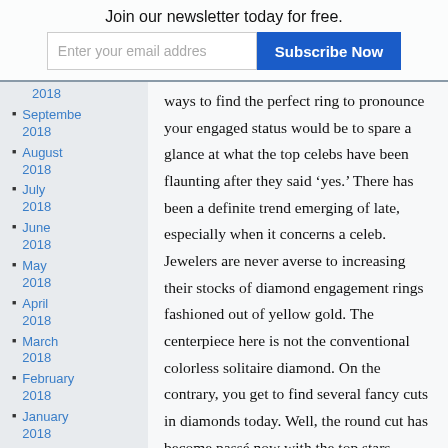Join our newsletter today for free.
2018
September 2018
August 2018
July 2018
June 2018
May 2018
April 2018
March 2018
February 2018
January 2018
ways to find the perfect ring to pronounce your engaged status would be to spare a glance at what the top celebs have been flaunting after they said ‘yes.’ There has been a definite trend emerging of late, especially when it concerns a celeb. Jewelers are never averse to increasing their stocks of diamond engagement rings fashioned out of yellow gold. The centerpiece here is not the conventional colorless solitaire diamond. On the contrary, you get to find several fancy cuts in diamonds today. Well, the round cut has become passé now with the top stars brandishing the emerald shape, cushion cut, and long